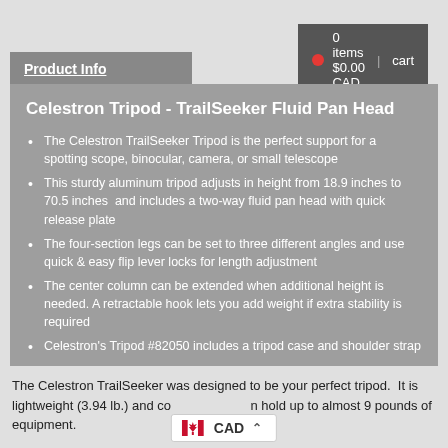0 items $0.00 CAD  |  cart
Product Info
Celestron Tripod - TrailSeeker Fluid Pan Head
The Celestron TrailSeeker Tripod is the perfect support for a spotting scope, binocular, camera, or small telescope
This sturdy aluminum tripod adjusts in height from 18.9 inches to 70.5 inches  and includes a two-way fluid pan head with quick release plate
The four-section legs can be set to three different angles and use quick & easy flip lever locks for length adjustment
The center column can be extended when additional height is needed. A retractable hook lets you add weight if extra stability is required
Celestron's Tripod #82050 includes a tripod case and shoulder strap
The Celestron TrailSeeker was designed to be your perfect tripod.  It is lightweight (3.94 lb.) and can hold up to almost 9 pounds of equipment.